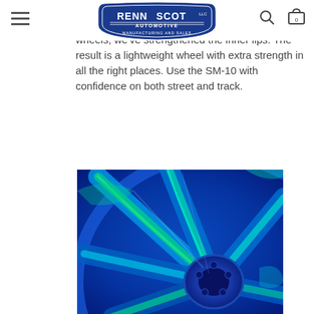Rennscot Automotive Manufacturing and Sales
tested to JWL/VIA standards. Since most Porsche have a significant rear weight bias on the rear wheels, we've strengthened the inner lips. The result is a lightweight wheel with extra strength in all the right places. Use the SM-10 with confidence on both street and track.
[Figure (photo): FEA stress analysis visualization of an SM-10 wheel, showing blue and green color mapping on the spokes and hub area, indicating stress distribution from structural simulation.]